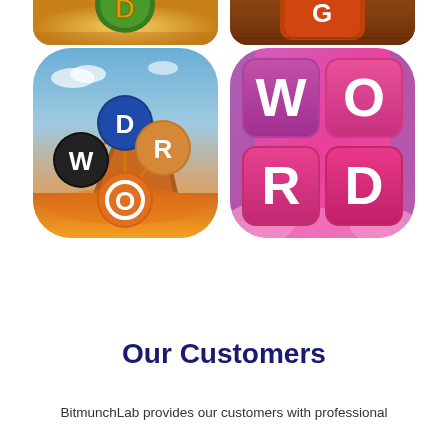[Figure (screenshot): Top partial app icons: left shows a green/yellow word game tile app icon cropped at top, right shows a brown wooden-style word game icon cropped at top]
[Figure (screenshot): Two mobile app game icons side by side. Left: 'Word' game with desert/canyon background and letter balls spelling W, D, R, O. Right: Pink/purple grid-style word game with tiles spelling W, O, R, D.]
EXPLORE MORE
Our Customers
BitmunchLab provides our customers with professional